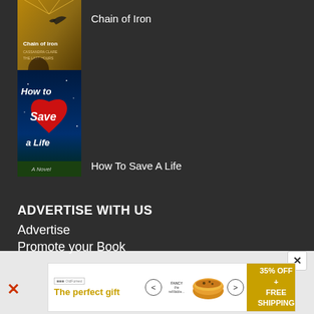[Figure (illustration): Book cover for 'Chain of Iron' by Cassandra Clare – dark fantasy cover with bird and figure]
Chain of Iron
[Figure (illustration): Book cover for 'How To Save A Life' – teal background with large red heart]
How To Save A Life
ADVERTISE WITH US
Advertise
Promote your Book
[Figure (infographic): Advertisement banner: 'The perfect gift' with food bowl image, navigation arrows, and '35% OFF + FREE SHIPPING' yellow box on the right]